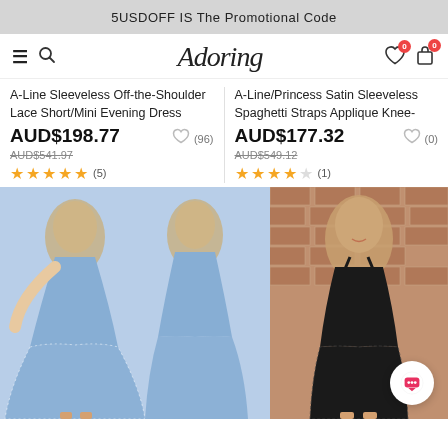5USDOFF IS The Promotional Code
[Figure (screenshot): Navigation bar with hamburger menu, search icon, Adoring brand logo, heart icon with badge 0, and shopping bag icon with badge 0]
A-Line Sleeveless Off-the-Shoulder Lace Short/Mini Evening Dress
AUD$198.77
AUD$541.97
★★★★★ (5)
A-Line/Princess Satin Sleeveless Spaghetti Straps Applique Knee-
AUD$177.32
AUD$549.12
★★★★★ (1)
[Figure (photo): Two views of a woman wearing a light blue off-the-shoulder short lace dress]
[Figure (photo): Woman wearing a black spaghetti strap lace knee-length dress in front of brick wall]